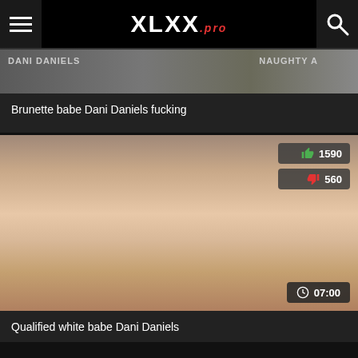XLXX.pro
[Figure (screenshot): Thumbnail image partially visible at top of first video card]
Brunette babe Dani Daniels fucking
[Figure (photo): Video thumbnail showing a woman in a pink top on a yellow chair]
Qualified white babe Dani Daniels